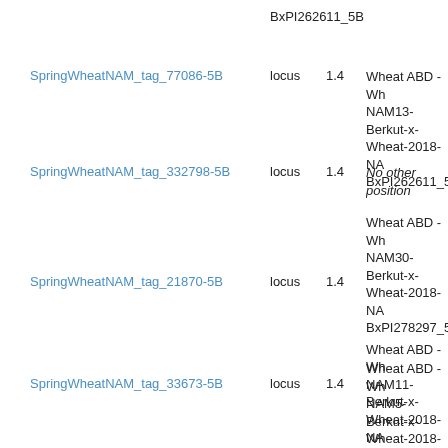BxPI262611_5B
SpringWheatNAM_tag_77086-5B | locus | 1.4 | Wheat ABD - Wh NAM13-Berkut-x- Wheat-2018-NA BxPI262611_5B
SpringWheatNAM_tag_332798-5B | locus | 1.4 | No other position
SpringWheatNAM_tag_21870-5B | locus | 1.4 | Wheat ABD - Wh NAM30-Berkut-x- Wheat-2018-NA BxPI278297_5B | Wheat ABD - Wh NAM11-Berkut-x- Wheat-2018-NA BxCltr4175_5B | Wheat ABD - Wh NAM12-Berkut-x- Wheat-2018-NA BxCltr11223_5B
SpringWheatNAM_tag_33673-5B | locus | 1.4 | Wheat ABD - Wh NAM5-Berkut-x- Wheat-2018-NA BxPI382150_5B | Wheat ABD - Wh NAM11-Berkut-x- Wheat-2018-NA